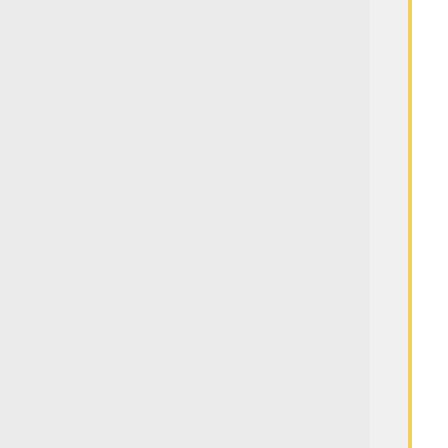[Figure (screenshot): Left gray panel with a yellow vertical line forming a content column border]
digits. Without <code>-c0</code> (or <code>-c1</code>, etc. —to tell it how many times to cycle through) it will cycle indefinitely, which probably isn't what you want.
hfst-expand -c0 xyz.automorf.hfst
If all the numbers are